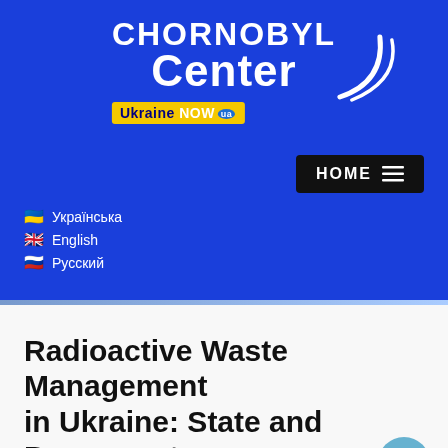[Figure (logo): Chornobyl Center logo with Ukraine NOW badge on blue background]
🇺🇦 Українська
🇬🇧 English
🇷🇺 Русский
Radioactive Waste Management in Ukraine: State and Prospects